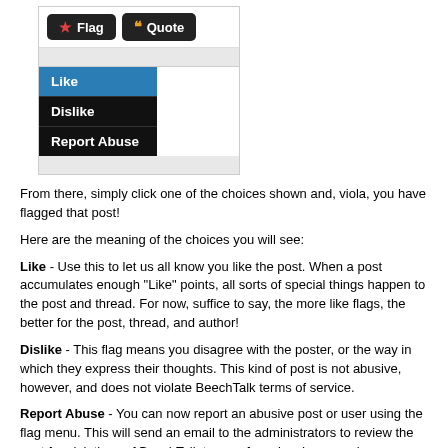[Figure (screenshot): Screenshot of a forum post interface showing Flag and Quote buttons, with a dropdown menu open containing three options: Like (highlighted in blue), Dislike, and Report Abuse]
From there, simply click one of the choices shown and, viola, you have flagged that post!
Here are the meaning of the choices you will see:
Like - Use this to let us all know you like the post. When a post accumulates enough "Like" points, all sorts of special things happen to the post and thread. For now, suffice to say, the more like flags, the better for the post, thread, and author!
Dislike - This flag means you disagree with the poster, or the way in which they express their thoughts. This kind of post is not abusive, however, and does not violate BeechTalk terms of service.
Report Abuse - You can now report an abusive post or user using the flag menu. This will send an email to the administrators to review the post for violations of BeechTalk terms of service. In general, you should use this flag to report things such as: Spam, personal attacks, lewd content, etc.